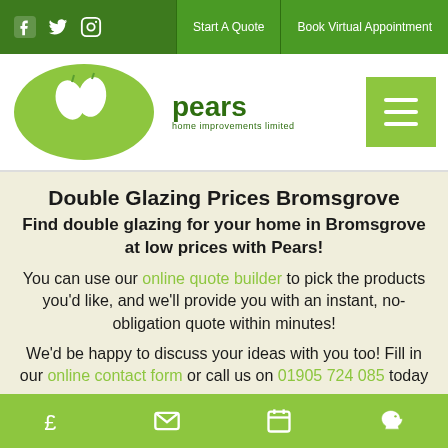Social icons (Facebook, Twitter, Instagram) | Start A Quote | Book Virtual Appointment
[Figure (logo): Pears Home Improvements Limited logo — green oval with pear shapes, green wordmark 'pears home improvements limited']
Double Glazing Prices Bromsgrove
Find double glazing for your home in Bromsgrove at low prices with Pears!
You can use our online quote builder to pick the products you'd like, and we'll provide you with an instant, no-obligation quote within minutes!
We'd be happy to discuss your ideas with you too! Fill in our online contact form or call us on 01905 724 085 today
Bottom icon bar: £ (pricing), envelope (contact), calendar (book), piggy bank (savings)